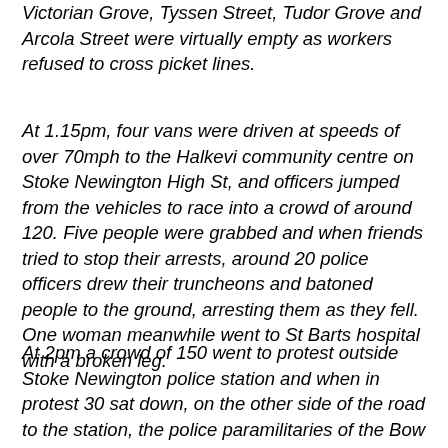Victorian Grove, Tyssen Street, Tudor Grove and Arcola Street were virtually empty as workers refused to cross picket lines.
At 1.15pm, four vans were driven at speeds of over 70mph to the Halkevi community centre on Stoke Newington High St, and officers jumped from the vehicles to race into a crowd of around 120. Five people were grabbed and when friends tried to stop their arrests, around 20 police officers drew their truncheons and batoned people to the ground, arresting them as they fell. One woman meanwhile went to St Barts hospital with a broken leg.
At 2pm a crowd of 150 went to protest outside Stoke Newington police station and when in protest 30 sat down, on the other side of the road to the station, the police paramilitaries of the Bow TSG rushed across the road and